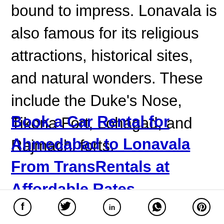bound to impress. Lonavala is also famous for its religious attractions, historical sites, and natural wonders. These include the Duke's Nose, Tikona Fort, Lohagad, and Rajmachi forts.
Book a Car Rental for Ahmedabad to Lonavala From TransRentals at Affordable Rates.
[Figure (other): Social media share icons: Facebook, Twitter, LinkedIn, WhatsApp, Pinterest]